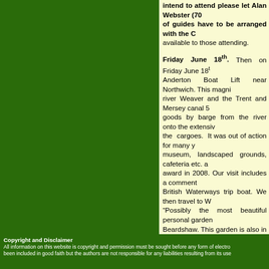intend to attend please let Alan Webster (7... of guides have to be arranged with the C... available to those attending.
Friday June 18th. Then on Friday June 18th Anderton Boat Lift near Northwich. This magnificent... river Weaver and the Trent and Mersey canal 5... goods by barge from the river onto the extensively... the cargoes. It was out of action for many y... museum, landscaped grounds, cafeteria etc. a... award in 2008. Our visit includes a commented... British Waterways trip boat. We then travel to W... "Possibly the most beautiful personal garden ... Beardshaw. This garden is also in the recomm... much to see and an excellent Tea Room for lu... leave at about 4p.m. The cost will be £21 for ... larger amount than usual, but it does include en... lift. Tickets are selling well!
Thursday July 1st "Churchill, Roosevelt and... Repton and our guide in Cambridge.
Copyright and Disclaimer
All information on this website is copyright and permission must be sought before any form of electro... been included in good faith but the authors are not responsible for any liabilities resulting from its use...